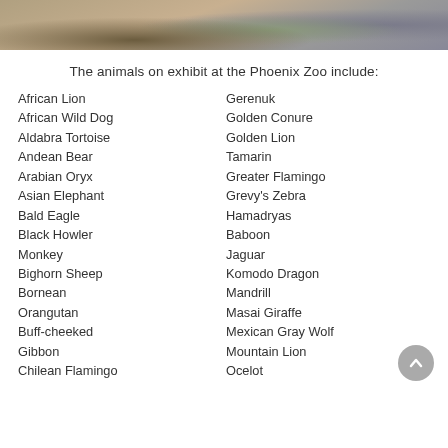[Figure (photo): Partial photo of rocks and dry leaves/ground at a zoo exhibit, shown as a cropped strip at the top of the page]
The animals on exhibit at the Phoenix Zoo include:
African Lion
African Wild Dog
Aldabra Tortoise
Andean Bear
Arabian Oryx
Asian Elephant
Bald Eagle
Black Howler Monkey
Bighorn Sheep
Bornean Orangutan
Buff-cheeked Gibbon
Chilean Flamingo
Gerenuk
Golden Conure
Golden Lion Tamarin
Greater Flamingo
Grevy's Zebra
Hamadryas Baboon
Jaguar
Komodo Dragon
Mandrill
Masai Giraffe
Mexican Gray Wolf
Mountain Lion
Ocelot